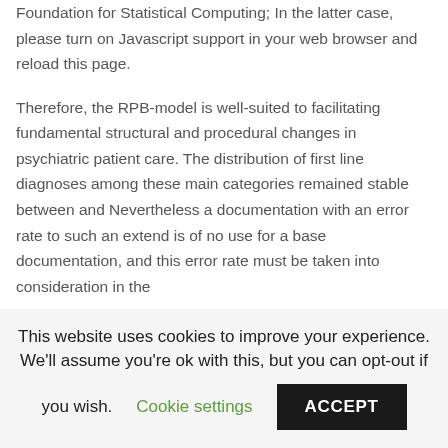Foundation for Statistical Computing; In the latter case, please turn on Javascript support in your web browser and reload this page.
Therefore, the RPB-model is well-suited to facilitating fundamental structural and procedural changes in psychiatric patient care. The distribution of first line diagnoses among these main categories remained stable between and Nevertheless a documentation with an error rate to such an extend is of no use for a base documentation, and this error rate must be taken into consideration in the
This website uses cookies to improve your experience. We'll assume you're ok with this, but you can opt-out if you wish. Cookie settings ACCEPT